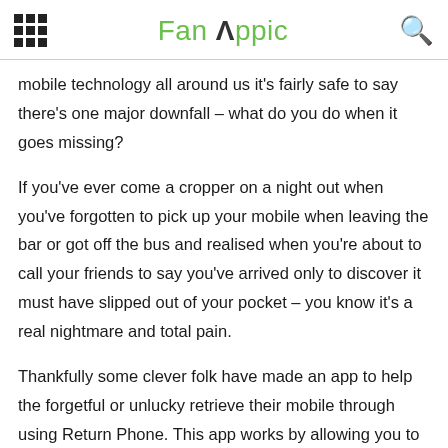Fan Appic
mobile technology all around us it's fairly safe to say there's one major downfall – what do you do when it goes missing?
If you've ever come a cropper on a night out when you've forgotten to pick up your mobile when leaving the bar or got off the bus and realised when you're about to call your friends to say you've arrived only to discover it must have slipped out of your pocket – you know it's a real nightmare and total pain.
Thankfully some clever folk have made an app to help the forgetful or unlucky retrieve their mobile through using Return Phone. This app works by allowing you to register some basic contact details and the reward you're willing to pay to have your phone returned.